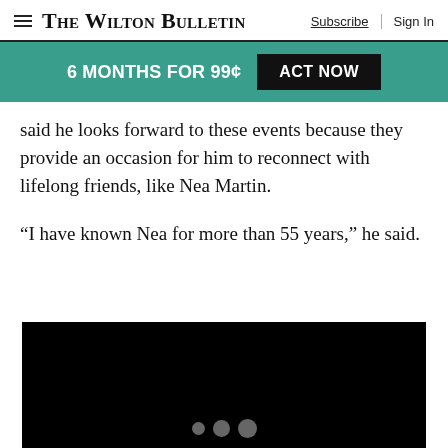The Wilton Bulletin | Subscribe | Sign In
6 MONTHS FOR 99¢   ACT NOW
said he looks forward to these events because they provide an occasion for him to reconnect with lifelong friends, like Nea Martin.
“I have known Nea for more than 55 years,” he said.
[Figure (photo): Black image block with three circular dot indicators at the bottom center]